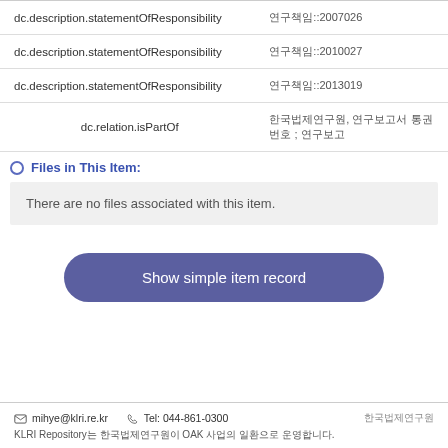| Field | Value |
| --- | --- |
| dc.description.statementOfResponsibility | 연구책임::2007026 |
| dc.description.statementOfResponsibility | 연구책임::2010027 |
| dc.description.statementOfResponsibility | 연구책임::2013019 |
| dc.relation.isPartOf | 한국법제연구원, 연구보고서 통권번호 ; 연구보고 |
Files in This Item:
There are no files associated with this item.
Show simple item record
mihye@klri.re.kr  Tel: 044-861-0300  한국법제연구원
KLRI Repository는 한국법제연구원이 OAK 사업의 일환으로 운영합니다.